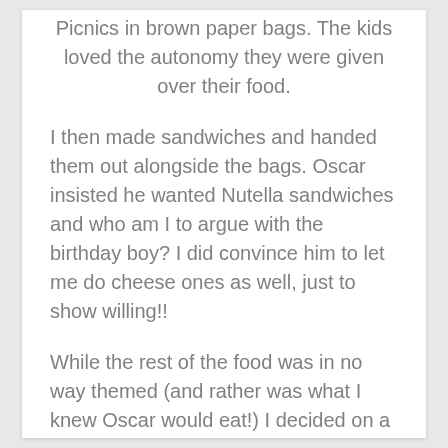Picnics in brown paper bags. The kids loved the autonomy they were given over their food.
I then made sandwiches and handed them out alongside the bags. Oscar insisted he wanted Nutella sandwiches and who am I to argue with the birthday boy? I did convince him to let me do cheese ones as well, just to show willing!!
While the rest of the food was in no way themed (and rather was what I knew Oscar would eat!) I decided on a nod toward the Lego theme with the sandwiches. I borrowed a Lego Head Cutter, bought an Edible Marker. And the result was even better than I hoped!